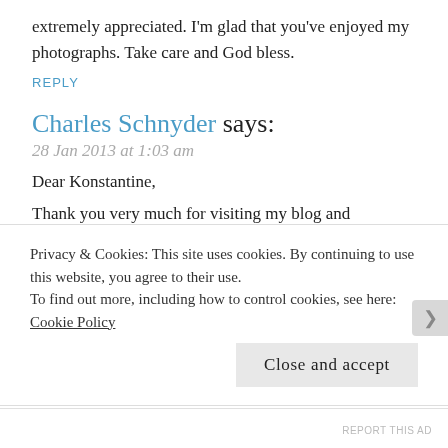extremely appreciated. I'm glad that you've enjoyed my photographs. Take care and God bless.
REPLY
Charles Schnyder says:
28 Jan 2013 at 1:03 am
Dear Konstantine,
Thank you very much for visiting my blog and commenting my latest post. I took the time to go through your blog and I have to say, that I enjoyed your pictures very much (and your style of writing is pleasant to read by the way).
Looking very much forward to seeing more of your wonderful and
Privacy & Cookies: This site uses cookies. By continuing to use this website, you agree to their use.
To find out more, including how to control cookies, see here: Cookie Policy
Close and accept